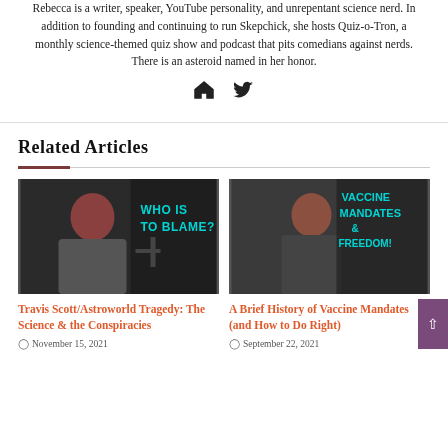Rebecca is a writer, speaker, YouTube personality, and unrepentant science nerd. In addition to founding and continuing to run Skepchick, she hosts Quiz-o-Tron, a monthly science-themed quiz show and podcast that pits comedians against nerds. There is an asteroid named in her honor.
[Figure (other): Home icon and Twitter bird icon links]
Related Articles
[Figure (photo): Thumbnail image for Travis Scott/Astroworld Tragedy article showing a woman with red hair and glasses with overlay text WHO IS TO BLAME?]
Travis Scott/Astroworld Tragedy: The Science & the Conspiracies
November 15, 2021
[Figure (photo): Thumbnail image for Vaccine Mandates article showing a woman with red hair and glasses with overlay text VACCINE MANDATES & FREEDOM!]
A Brief History of Vaccine Mandates (and How to Do Right)
September 22, 2021